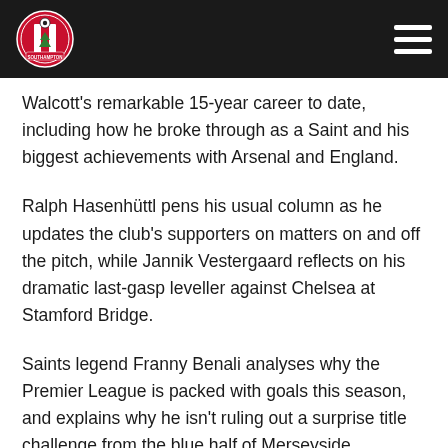[Figure (logo): Southampton FC crest logo on dark header bar with hamburger menu icon]
Walcott's remarkable 15-year career to date, including how he broke through as a Saint and his biggest achievements with Arsenal and England.
Ralph Hasenhüttl pens his usual column as he updates the club's supporters on matters on and off the pitch, while Jannik Vestergaard reflects on his dramatic last-gasp leveller against Chelsea at Stamford Bridge.
Saints legend Franny Benali analyses why the Premier League is packed with goals this season, and explains why he isn't ruling out a surprise title challenge from the blue half of Merseyside.